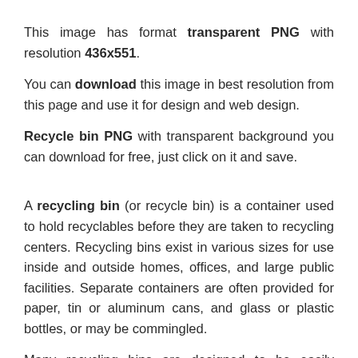This image has format transparent PNG with resolution 436x551.
You can download this image in best resolution from this page and use it for design and web design.
Recycle bin PNG with transparent background you can download for free, just click on it and save.
A recycling bin (or recycle bin) is a container used to hold recyclables before they are taken to recycling centers. Recycling bins exist in various sizes for use inside and outside homes, offices, and large public facilities. Separate containers are often provided for paper, tin or aluminum cans, and glass or plastic bottles, or may be commingled.
Many recycling bins are designed to be easily recognizable.